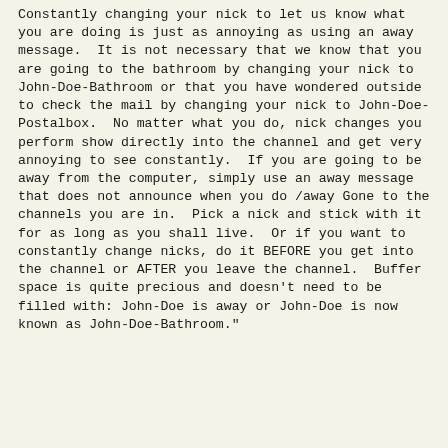Constantly changing your nick to let us know what you are doing is just as annoying as using an away message.  It is not necessary that we know that you are going to the bathroom by changing your nick to John-Doe-Bathroom or that you have wondered outside to check the mail by changing your nick to John-Doe-Postalbox.  No matter what you do, nick changes you perform show directly into the channel and get very annoying to see constantly.  If you are going to be away from the computer, simply use an away message that does not announce when you do /away Gone to the channels you are in.  Pick a nick and stick with it for as long as you shall live.  Or if you want to constantly change nicks, do it BEFORE you get into the channel or AFTER you leave the channel.  Buffer space is quite precious and doesn't need to be filled with: John-Doe is away or John-Doe is now known as John-Doe-Bathroom."